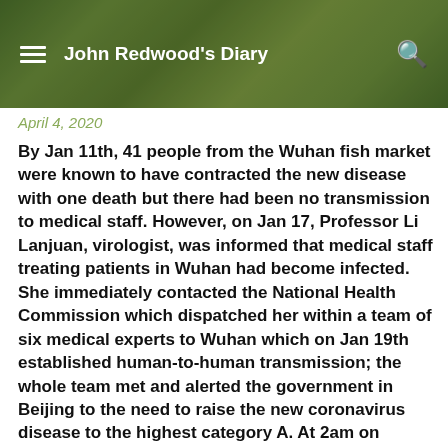John Redwood's Diary
April 4, 2020
By Jan 11th, 41 people from the Wuhan fish market were known to have contracted the new disease with one death but there had been no transmission to medical staff. However, on Jan 17, Professor Li Lanjuan, virologist, was informed that medical staff treating patients in Wuhan had become infected. She immediately contacted the National Health Commission which dispatched her within a team of six medical experts to Wuhan which on Jan 19th established human-to-human transmission; the whole team met and alerted the government in Beijing to the need to raise the new coronavirus disease to the highest category A. At 2am on January 23, Wuhan was put into lock down; the government did not wait for a report from a team of Arts graduates highlighting all the options and with all the pros and cons etc.